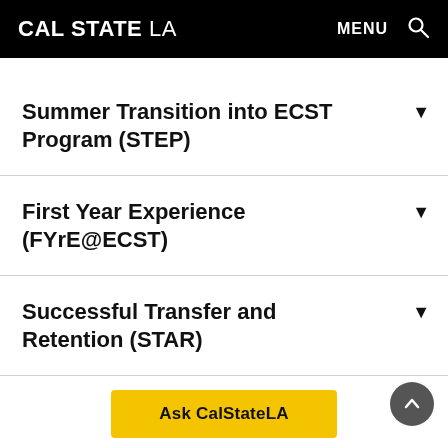CAL STATE LA — MENU
Summer Transition into ECST Program (STEP)
First Year Experience (FYrE@ECST)
Successful Transfer and Retention (STAR)
Ask CalStateLA